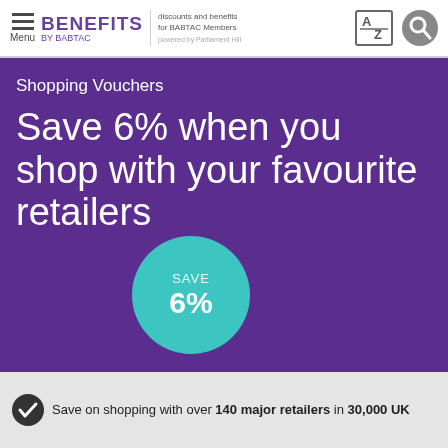BENEFITS BY BABTAC | discounts and benefits for BABTAC Members | powered by Parliament Hill
Shopping Vouchers
Save 6% when you shop with your favourite retailers
[Figure (infographic): Teal circular badge with text 'Save 6%']
Save on shopping with over 140 major retailers in 30,000 UK